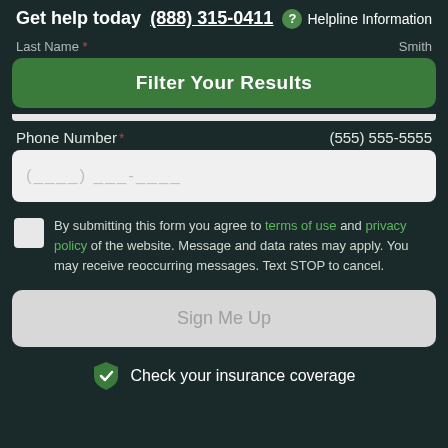Get help today  (888) 315-0411  ? Helpline Information
Last Name *  Smith
Filter Your Results
Phone Number *  (555) 555-5555
(___) ___-____
By submitting this form you agree to terms of use and privacy policy of the website. Message and data rates may apply. You may receive reoccurring messages. Text STOP to cancel.
Sign Me Up
Check your insurance coverage